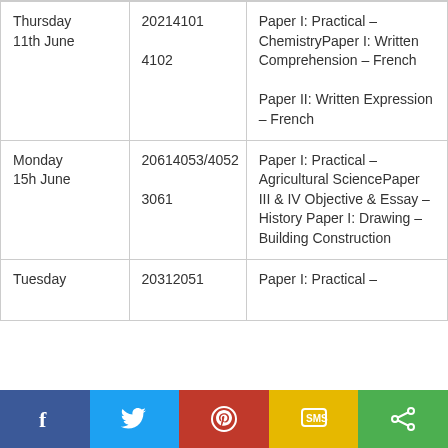| Day | Code | Subject/Paper |
| --- | --- | --- |
| Thursday 11th June | 20214101

4102 | Paper I: Practical – ChemistryPaper I: Written Comprehension – French

Paper II: Written Expression – French |
| Monday 15h June | 20614053/4052

3061 | Paper I: Practical – Agricultural SciencePaper III & IV Objective & Essay – History Paper I: Drawing – Building Construction |
| Tuesday | 20312051 | Paper I: Practical – |